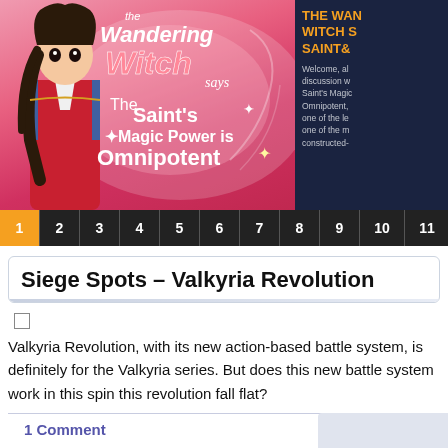[Figure (illustration): Banner for 'The Wandering Witch says' featuring The Saint's Magic Power is Omnipotent anime, with anime character on left and pink/red stylized title text]
THE WANDERING WITCH SAYS THE SAINT& Welcome, al... discussion w... Saint's Magic... Omnipotent,... one of the le... one of the m... constructed-...
1 2 3 4 5 6 7 8 9 10 11
Siege Spots – Valkyria Revolution
Valkyria Revolution, with its new action-based battle system, is definitely for the Valkyria series. But does this new battle system work in this spin this revolution fall flat?
1 Comment